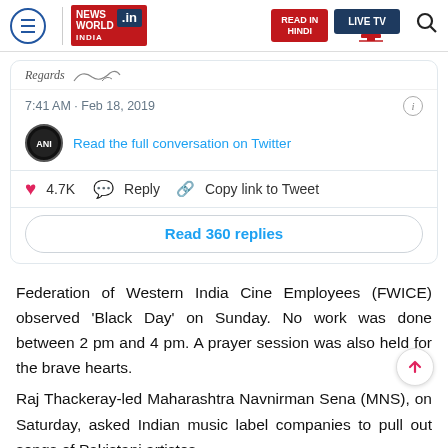NEWS WORLD INDIA .in | READ IN HINDI | LIVE TV
[Figure (screenshot): Embedded tweet screenshot showing: 'Regards' signature with logo, timestamp '7:41 AM · Feb 18, 2019', ANI avatar with 'Read the full conversation on Twitter' link, like count 4.7K, Reply button, Copy link to Tweet, Read 360 replies button]
Federation of Western India Cine Employees (FWICE) observed 'Black Day' on Sunday. No work was done between 2 pm and 4 pm. A prayer session was also held for the brave hearts.
Raj Thackeray-led Maharashtra Navnirman Sena (MNS), on Saturday, asked Indian music label companies to pull out songs of Pakistani artistes